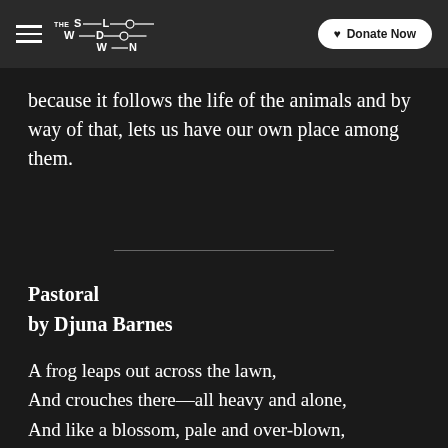THE SLOWDOWN | Donate Now
because it follows the life of the animals and by way of that, lets us have our own place among them.
Pastoral
by Djuna Barnes
A frog leaps out across the lawn,
And crouches there—all heavy and alone,
And like a blossom, pale and over-blown,
Once more the moon turns dim against the dawn.